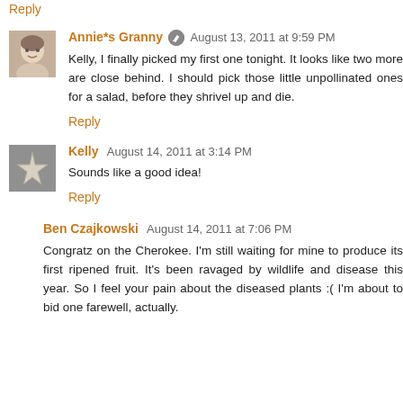Reply
Annie*s Granny  August 13, 2011 at 9:59 PM
Kelly, I finally picked my first one tonight. It looks like two more are close behind. I should pick those little unpollinated ones for a salad, before they shrivel up and die.
Reply
Kelly  August 14, 2011 at 3:14 PM
Sounds like a good idea!
Reply
Ben Czajkowski  August 14, 2011 at 7:06 PM
Congratz on the Cherokee. I'm still waiting for mine to produce its first ripened fruit. It's been ravaged by wildlife and disease this year. So I feel your pain about the diseased plants :( I'm about to bid one farewell, actually.